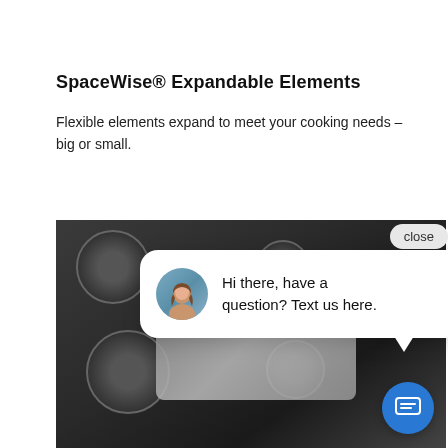SpaceWise® Expandable Elements
Flexible elements expand to meet your cooking needs – big or small.
[Figure (screenshot): Product page screenshot showing a cooktop with SpaceWise expandable elements, overlaid with a chat widget popup. The chat widget shows an avatar of a woman and text 'Hi there, have a question? Text us here.' with a close button and a blue circular chat icon button.]